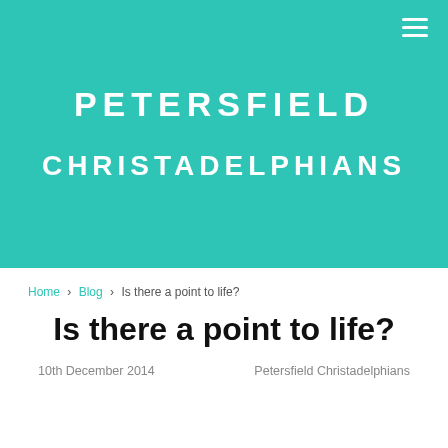PETERSFIELD CHRISTADELPHIANS
Home > Blog > Is there a point to life?
Is there a point to life?
10th December 2014    Petersfield Christadelphians